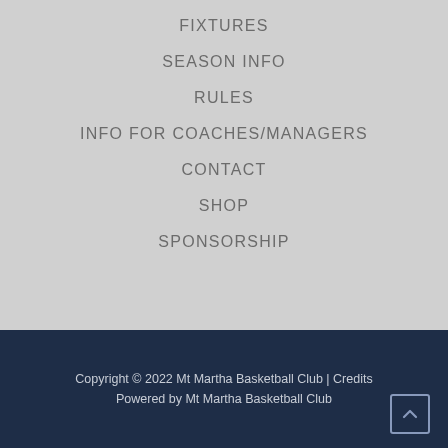FIXTURES
SEASON INFO
RULES
INFO FOR COACHES/MANAGERS
CONTACT
SHOP
SPONSORSHIP
Copyright © 2022 Mt Martha Basketball Club | Credits
Powered by Mt Martha Basketball Club